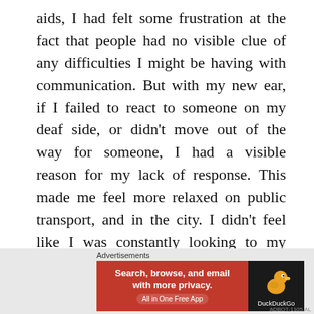aids, I had felt some frustration at the fact that people had no visible clue of any difficulties I might be having with communication. But with my new ear, if I failed to react to someone on my deaf side, or didn't move out of the way for someone, I had a visible reason for my lack of response. This made me feel more relaxed on public transport, and in the city. I didn't feel like I was constantly looking to my left to check if there was someone there, or if the lips of the person next to me were moving.
The main positive outcome of my new ear was
[Figure (other): DuckDuckGo advertisement banner: 'Search, browse, and email with more privacy. All in One Free App' with DuckDuckGo duck logo on dark background.]